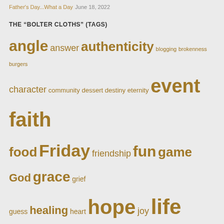Father's Day...What a Day June 18, 2022
THE “BOLTER CLOTHS” (TAGS)
[Figure (infographic): Tag cloud with words of varying sizes in golden/brown color on light gray background. Words include: angle, answer, authenticity, blogging, brokenness, burgers, character, community, dessert, destiny, eternity, event, faith, food, Friday, friendship, fun, game, God, grace, grief, guess, healing, heart, hope, joy, life, love, new, pain, peace, perspective, photography, poetry, reality, relationship, restaurant, review, seafood, sharing, steak, strength, treats, tribute, truth, Tuesday, Wednesday, weekly, wisdom, yum]